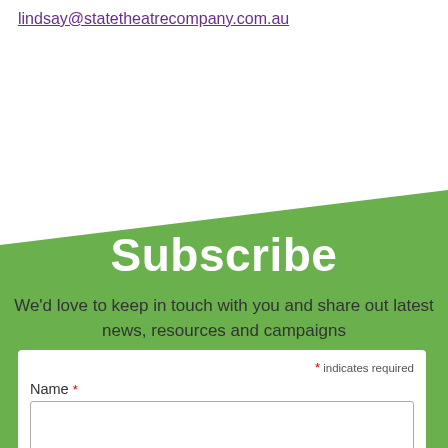lindsay@statetheatrecompany.com.au
Subscribe
We'd love to keep in touch with you and share out latest news, resources and campaigns
* indicates required
Name *
Email Address *